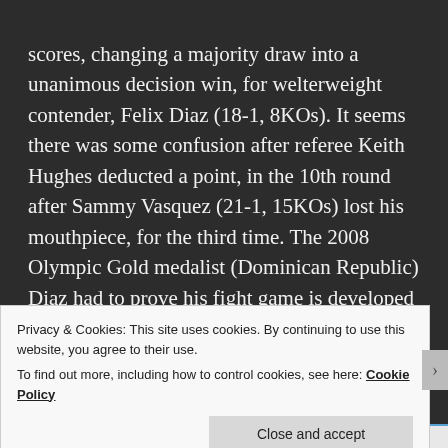scores, changing a majority draw into a unanimous decision win, for welterweight contender, Felix Diaz (18-1, 8KOs). It seems there was some confusion after referee Keith Hughes deducted a point, in the 10th round after Sammy Vasquez (21-1, 15KOs) lost his mouthpiece, for the third time. The 2008 Olympic Gold medalist (Dominican Republic) Diaz had to prove his fight game is developed enough to stay in the professional arena after an October 2015 loss to Lamont Peterson (33-3-1, 17KOs). By the third round, Diaz showed more of his Olympic vigor landing substantial combinations against the
Privacy & Cookies: This site uses cookies. By continuing to use this website, you agree to their use.
To find out more, including how to control cookies, see here: Cookie Policy
Close and accept